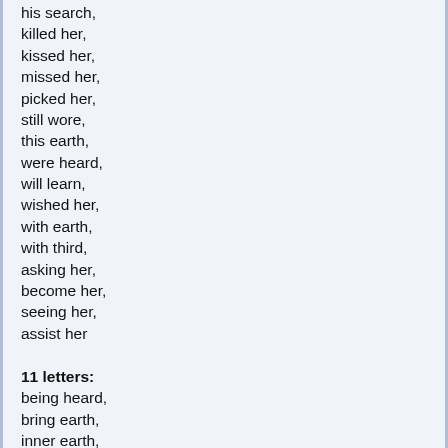his search,
killed her,
kissed her,
missed her,
picked her,
still wore,
this earth,
were heard,
will learn,
wished her,
with earth,
with third,
asking her,
become her,
seeing her,
assist her
11 letters:
being heard,
bring earth,
inner earth,
thing heard,
brick earth,
chris heard,
cleared her,